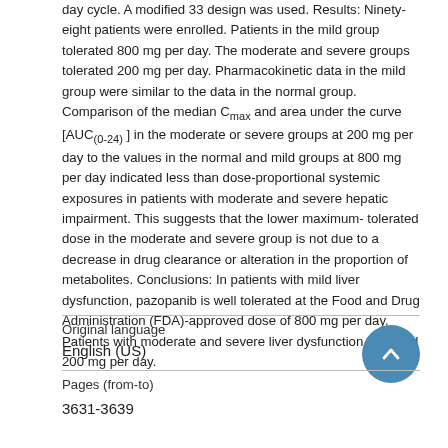day cycle. A modified 33 design was used. Results: Ninety-eight patients were enrolled. Patients in the mild group tolerated 800 mg per day. The moderate and severe groups tolerated 200 mg per day. Pharmacokinetic data in the mild group were similar to the data in the normal group. Comparison of the median C_max and area under the curve [AUC(0-24)] in the moderate or severe groups at 200 mg per day to the values in the normal and mild groups at 800 mg per day indicated less than dose-proportional systemic exposures in patients with moderate and severe hepatic impairment. This suggests that the lower maximum-tolerated dose in the moderate and severe group is not due to a decrease in drug clearance or alteration in the proportion of metabolites. Conclusions: In patients with mild liver dysfunction, pazopanib is well tolerated at the Food and Drug Administration (FDA)-approved dose of 800 mg per day. Patients with moderate and severe liver dysfunction tolerated 200 mg per day.
| Original language |  |
| --- | --- |
| English (US) |  |
| Pages (from-to) |  |
| 3631-3639 |  |